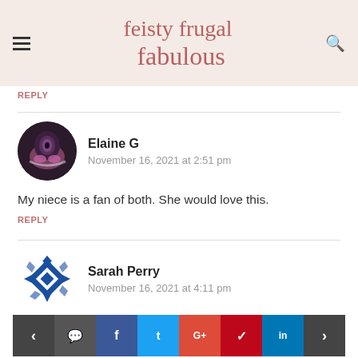feisty frugal fabulous
REPLY
Elaine G
November 16, 2021 at 2:51 pm
My niece is a fan of both. She would love this.
REPLY
Sarah Perry
November 16, 2021 at 4:11 pm
My daughter absolutely loves Animal Crossing,
< comment f t G+ p in >